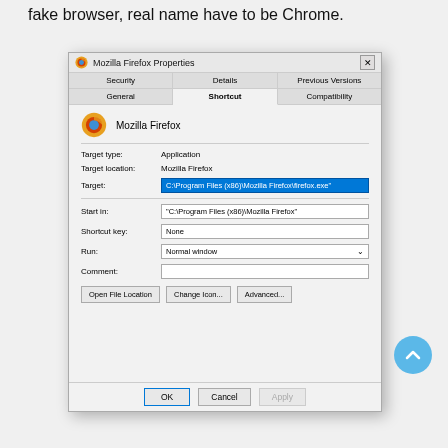fake browser, real name have to be Chrome.
[Figure (screenshot): Windows dialog box showing Mozilla Firefox Properties, Shortcut tab. Fields: Target type: Application, Target location: Mozilla Firefox, Target: C:\Program Files (x86)\Mozilla Firefox\firefox.exe (highlighted in blue), Start in: "C:\Program Files (x86)\Mozilla Firefox", Shortcut key: None, Run: Normal window, Comment: (empty). Buttons: Open File Location, Change Icon..., Advanced.... Footer buttons: OK, Cancel, Apply.]